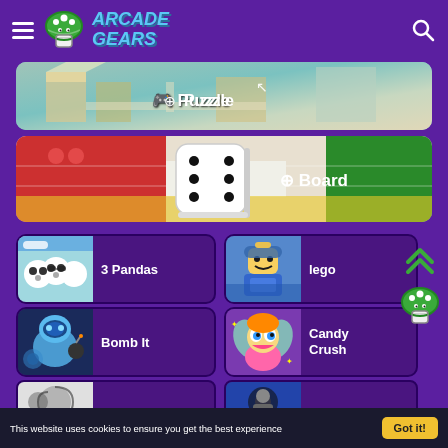Arcade Gears
[Figure (screenshot): Puzzle game banner showing isometric 3D maze/building scene with a cursor icon]
[Figure (screenshot): Board game banner showing Ludo/Parcheesi board with large white 3D dice]
[Figure (screenshot): 3 Pandas game thumbnail showing three cartoon pandas]
3 Pandas
[Figure (screenshot): Lego game thumbnail showing a Lego character]
lego
[Figure (screenshot): Bomb It game thumbnail showing a blue robot character]
Bomb It
[Figure (screenshot): Candy Crush game thumbnail showing a cheerful fairy character]
Candy Crush
This website uses cookies to ensure you get the best experience